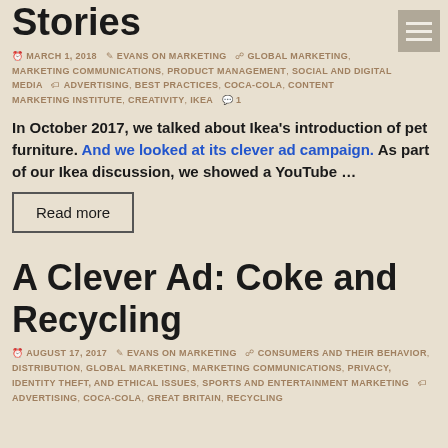Stories
MARCH 1, 2018  EVANS ON MARKETING  GLOBAL MARKETING, MARKETING COMMUNICATIONS, PRODUCT MANAGEMENT, SOCIAL AND DIGITAL MEDIA  ADVERTISING, BEST PRACTICES, COCA-COLA, CONTENT MARKETING INSTITUTE, CREATIVITY, IKEA  1
In October 2017, we talked about Ikea's introduction of pet furniture. And we looked at its clever ad campaign. As part of our Ikea discussion, we showed a YouTube …
Read more
A Clever Ad: Coke and Recycling
AUGUST 17, 2017  EVANS ON MARKETING  CONSUMERS AND THEIR BEHAVIOR, DISTRIBUTION, GLOBAL MARKETING, MARKETING COMMUNICATIONS, PRIVACY, IDENTITY THEFT, AND ETHICAL ISSUES, SPORTS AND ENTERTAINMENT MARKETING  ADVERTISING, COCA-COLA, GREAT BRITAIN, RECYCLING